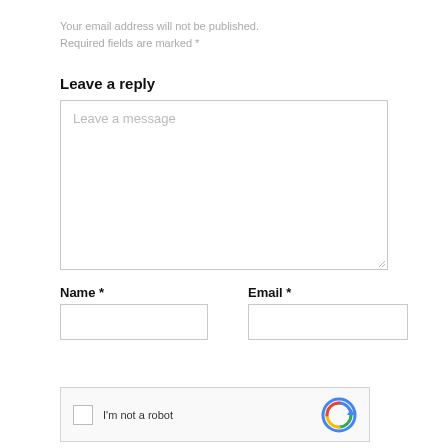Your email address will not be published. Required fields are marked *
Leave a reply
[Figure (screenshot): Text area input box with placeholder text 'Leave a message' and a resize handle in the bottom-right corner]
Name *
Email *
[Figure (screenshot): reCAPTCHA widget with checkbox, 'I'm not a robot' text, and reCAPTCHA logo]